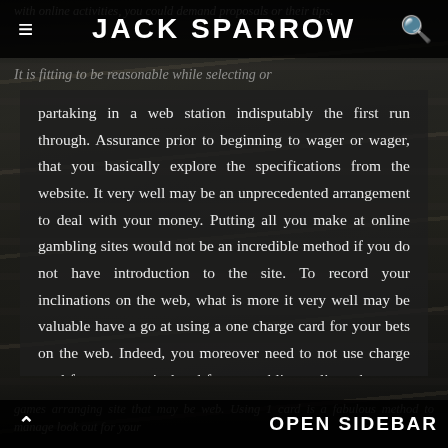JACK SPARROW
It is fitting to be reasonable while selecting or partaking in a web station indisputably the first run through. Assurance prior to beginning to wager or wager, that you basically explore the specifications from the website. It very well may be an unprecedented arrangement to deal with your money. Putting all you make at online gambling sites would not be an incredible method if you do not have introduction to the site. To record your inclinations on the web, what is more it very well may be valuable have a go at using a one charge card for your bets on the web. Indeed, you moreover need to not use charge card for purposes isolated from gambling online when you have been participating in or setting bets over a
OPEN SIDEBAR